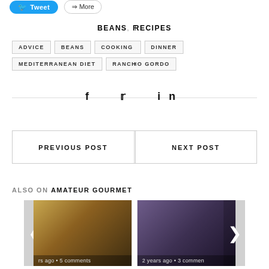BEANS, RECIPES
ADVICE
BEANS
COOKING
DINNER
MEDITERRANEAN DIET
RANCHO GORDO
f  Twitter  in
PREVIOUS POST
NEXT POST
ALSO ON AMATEUR GOURMET
[Figure (photo): Food photo 1 - fried/baked food item with yellow sauce, text overlay: ...rs ago • 5 comments]
[Figure (photo): Food photo 2 - green herb salad dish on dark background, text overlay: 2 years ago • 3 comments]